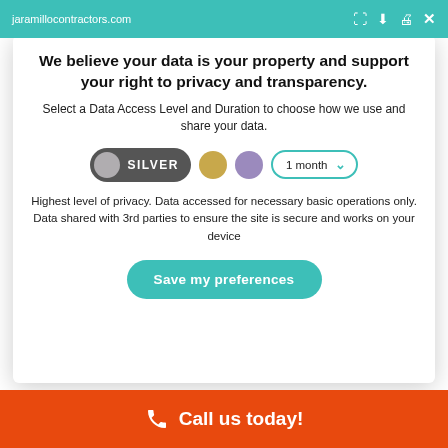jaramillocontractors.com
We believe your data is your property and support your right to privacy and transparency.
Select a Data Access Level and Duration to choose how we use and share your data.
[Figure (infographic): Data access level selector showing SILVER toggle button (dark grey with silver circle), a gold circle, a purple circle, and a '1 month' dropdown with teal border and chevron]
Highest level of privacy. Data accessed for necessary basic operations only. Data shared with 3rd parties to ensure the site is secure and works on your device
Save my preferences
Call us today!